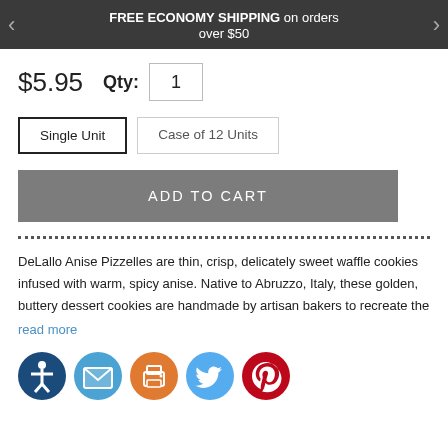FREE ECONOMY SHIPPING on orders over $50
$5.95   Qty: 1
Single Unit   Case of 12 Units
ADD TO CART
DeLallo Anise Pizzelles are thin, crisp, delicately sweet waffle cookies infused with warm, spicy anise. Native to Abruzzo, Italy, these golden, buttery dessert cookies are handmade by artisan bakers to recreate the
read more
[Figure (other): Social sharing icons: accessibility, email, print, Twitter, Pinterest]